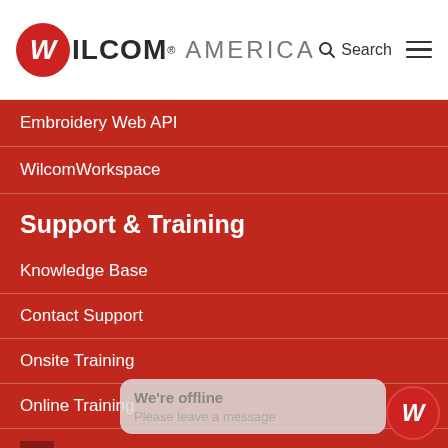[Figure (logo): Wilcom America logo with red W circle and text, search icon, and hamburger menu]
Embroidery Web API
WilcomWorkspace
Support & Training
Knowledge Base
Contact Support
Onsite Training
Online Training
Training Videos
We're offline
Please leave a message